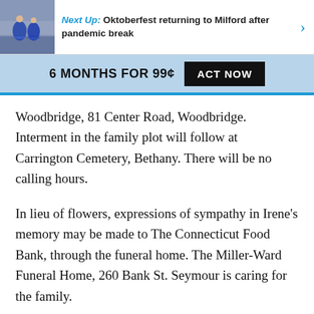Next Up: Oktoberfest returning to Milford after pandemic break
6 MONTHS FOR 99¢  ACT NOW
Woodbridge, 81 Center Road, Woodbridge. Interment in the family plot will follow at Carrington Cemetery, Bethany. There will be no calling hours.
In lieu of flowers, expressions of sympathy in Irene's memory may be made to The Connecticut Food Bank, through the funeral home. The Miller-Ward Funeral Home, 260 Bank St. Seymour is caring for the family.